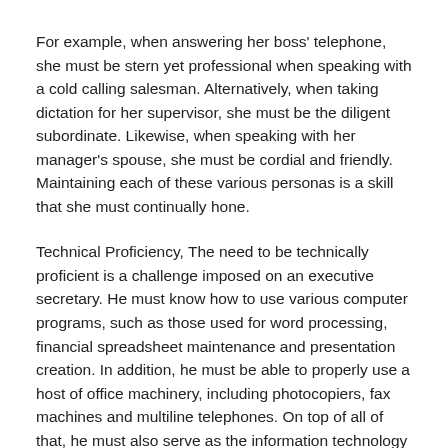For example, when answering her boss' telephone, she must be stern yet professional when speaking with a cold calling salesman. Alternatively, when taking dictation for her supervisor, she must be the diligent subordinate. Likewise, when speaking with her manager's spouse, she must be cordial and friendly. Maintaining each of these various personas is a skill that she must continually hone.
Technical Proficiency, The need to be technically proficient is a challenge imposed on an executive secretary. He must know how to use various computer programs, such as those used for word processing, financial spreadsheet maintenance and presentation creation. In addition, he must be able to properly use a host of office machinery, including photocopiers, fax machines and multiline telephones. On top of all of that, he must also serve as the information technology help desk for his boss, troubleshooting his office equipment as requested. If an executive secretary is not electronically inclined by nature, mastering this equipment may prove difficult.